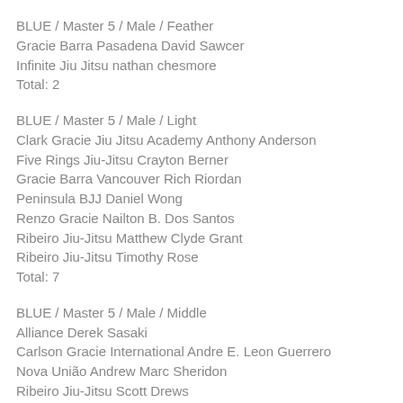BLUE / Master 5 / Male / Feather
Gracie Barra Pasadena David Sawcer
Infinite Jiu Jitsu nathan chesmore
Total: 2
BLUE / Master 5 / Male / Light
Clark Gracie Jiu Jitsu Academy Anthony Anderson
Five Rings Jiu-Jitsu Crayton Berner
Gracie Barra Vancouver Rich Riordan
Peninsula BJJ Daniel Wong
Renzo Gracie Nailton B. Dos Santos
Ribeiro Jiu-Jitsu Matthew Clyde Grant
Ribeiro Jiu-Jitsu Timothy Rose
Total: 7
BLUE / Master 5 / Male / Middle
Alliance Derek Sasaki
Carlson Gracie International Andre E. Leon Guerrero
Nova União Andrew Marc Sheridon
Ribeiro Jiu-Jitsu Scott Drews
Yemaso Brazilian Jiu Jitsu Allan Scott